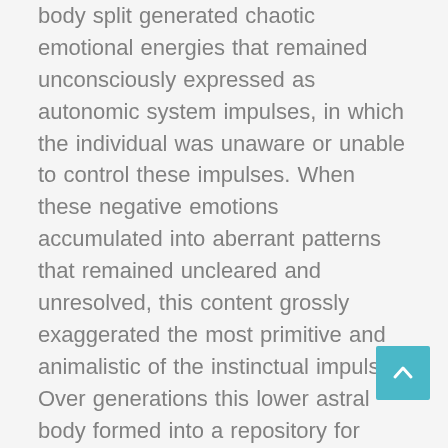body split generated chaotic emotional energies that remained unconsciously expressed as autonomic system impulses, in which the individual was unaware or unable to control these impulses. When these negative emotions accumulated into aberrant patterns that remained uncleared and unresolved, this content grossly exaggerated the most primitive and animalistic of the instinctual impulses. Over generations this lower astral body formed into a repository for accumulative emotional aberrance and traumatic experiences which in turn forms into the Shadow Selves and Pain Body that are connected to the Lightbody. It is the Shadow Selves which contribute to an assortment of pain body problems such as exacerbating uncontrollable subconscious